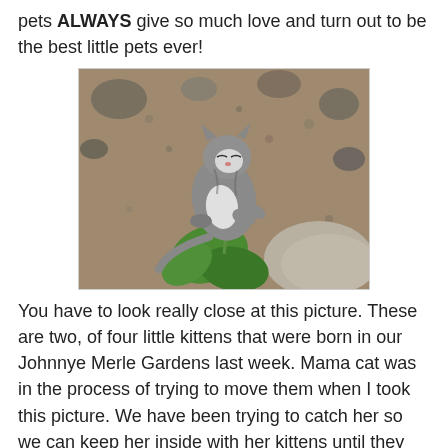pets ALWAYS give so much love and turn out to be the best little pets ever!
[Figure (photo): A small grey and white kitten outdoors on rocky ground, playing with or holding a green plant/leaf. The kitten appears very young.]
You have to look really close at this picture. These are two, of four little kittens that were born in our Johnnye Merle Gardens last week. Mama cat was in the process of trying to move them when I took this picture. We have been trying to catch her so we can keep her inside with her kittens until they are old enough to adopt. Our customers are SO cool! We have a jar on the counter to collect money for their food and when the time comes to pay for the vet costs. We intend to have the cat "altered", I think that is the right word.